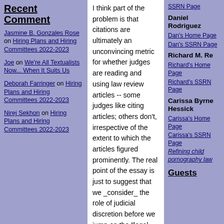Recent Comment
Jasmine B. Gonzales Rose on Hiring Plans and Hiring Committees 2022-2023
Joe on We're All Textualists Now... When It Suits Us
Deborah Farringer on Hiring Plans and Hiring Committees 2022-2023
Nirej Sekhon on Hiring Plans and Hiring Committees 2022-2023
I think part of the problem is that citations are ultimately an unconvincing metric for whether judges are reading and using law review articles -- some judges like citing articles; others don't, irrespective of the extent to which the articles figured prominently. The real point of the essay is just to suggest that we _consider_ the role of judicial discretion before we jump on the "legal scholarship is useless" or "judges are near-sighted" bandwagons...
Posted by: Steve Vladeck | May 29, 2007 1:17:22 PM
Lindsay you're right that Doug's blog gets cited a bunch, but I'm not one of the people who categorically lumps together blogging and scholarship. Some of my posts are proto- or quasi-scholarship, but many of my posts are not even near scholarship (eg., travel tips, reflections on ssrn's direction). That said, Doug's scholarship does get cited but I don't know and sort of doubt that it gets cited more than it did pre-Booker. Doug may be a sui generis case also
SSRN Page
Daniel Rodriguez
Dan's Home Page
Dan's SSRN Page
Richard M. Re
Richard's Home Page
Richard's SSRN Page
Carissa Byrne Hessick
Carissa's Home Page
Carissa's SSRN Page
Refining child pornography law
Guests